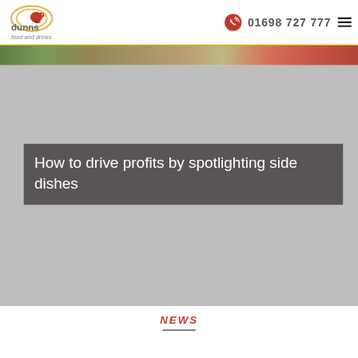[Figure (logo): Dunns Food and Drinks logo with circular swoosh design in red and gold, text 'dunns food and drinks' in grey]
01698 727 777
[Figure (photo): Hero banner image showing food items including vegetables and a plate on a wooden surface, partially visible]
How to drive profits by spotlighting side dishes
NEWS